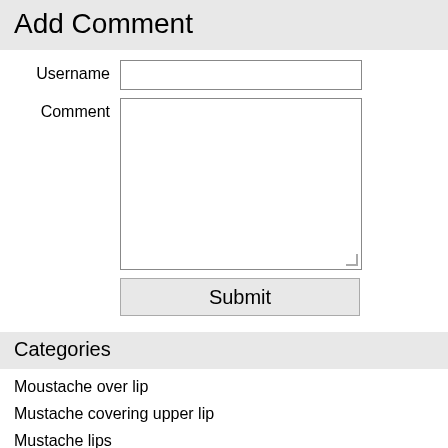Add Comment
Username
Comment
Submit
Categories
Moustache over lip
Mustache covering upper lip
Mustache lips
Mustache over lip